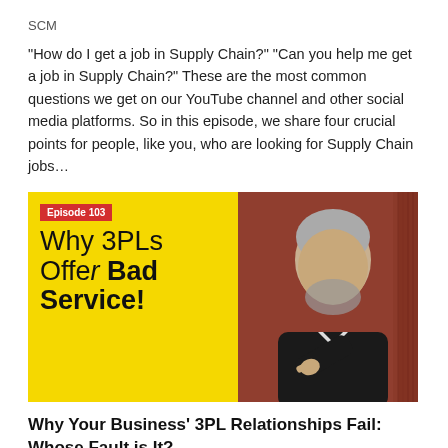SCM
“How do I get a job in Supply Chain?” “Can you help me get a job in Supply Chain?” These are the most common questions we get on our YouTube channel and other social media platforms. So in this episode, we share four crucial points for people, like you, who are looking for Supply Chain jobs…
[Figure (photo): Thumbnail image for Episode 103 titled 'Why 3PLs Offer Bad Service!' showing a yellow panel with episode badge and bold text on the left, and a man pointing his finger on the right against a red background.]
Why Your Business’ 3PL Relationships Fail: Whose Fault is It?